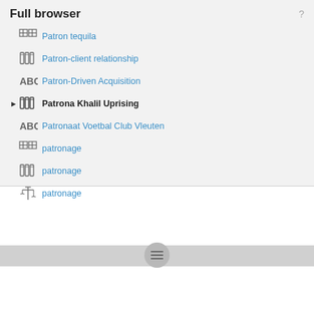Full browser
Patron tequila
Patron-client relationship
Patron-Driven Acquisition
Patrona Khalil Uprising
Patronaat Voetbal Club Vleuten
patronage
patronage
patronage